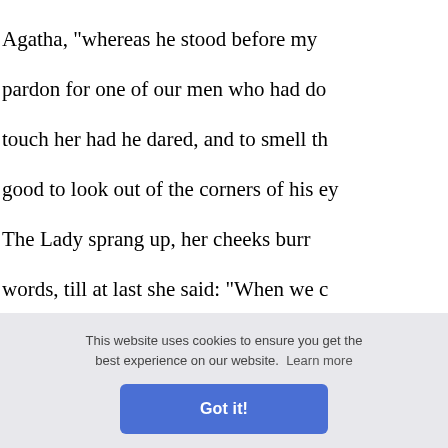Agatha, "whereas he stood before my pardon for one of our men who had do touch her had he dared, and to smell th good to look out of the corners of his ey The Lady sprang up, her cheeks burr words, till at last she said: "When we c again, and will care for Joyce no whit: t whether I am verily the least of women stand and smile on me?—Yea, I know v the dear youngling hath not seen this ne have her in my hands I would have a tr of beads about her neck."
"thou art l other tha aid the La t, and nei
ll I go to art, and k
Tower Dale: and trust me this very eve
[Figure (screenshot): Cookie consent banner with text 'This website uses cookies to ensure you get the best experience on our website. Learn more' and a 'Got it!' button]